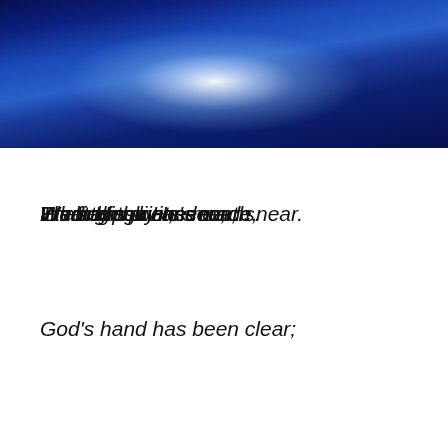[Figure (photo): Blue glowing light rays emanating from a bright central point over a dark blue water or sky background, creating dramatic radial streaks of blue and white light.]
God’s hand has been clear;

His fingerprints seen,

Through sky and earth near.

In all things He’s made,

We see the unseen;

Eternal power,

What His divine means.